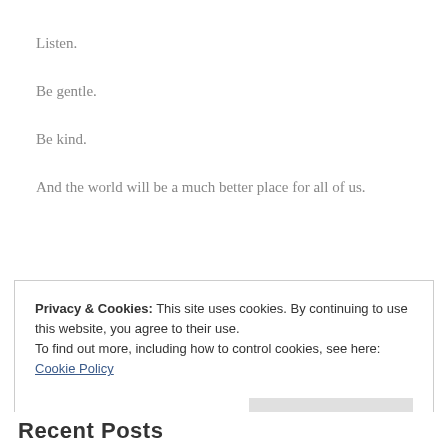Listen.
Be gentle.
Be kind.
And the world will be a much better place for all of us.
Privacy & Cookies: This site uses cookies. By continuing to use this website, you agree to their use. To find out more, including how to control cookies, see here: Cookie Policy
Close and accept
Recent Posts